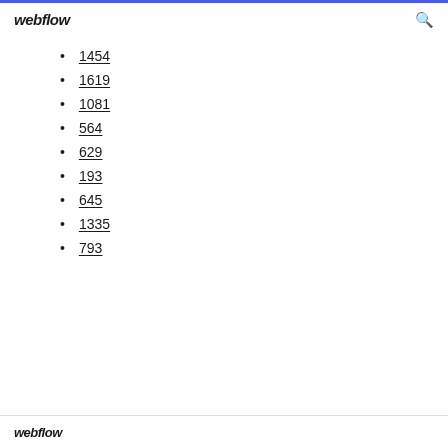webflow
1454
1619
1081
564
629
193
645
1335
793
webflow